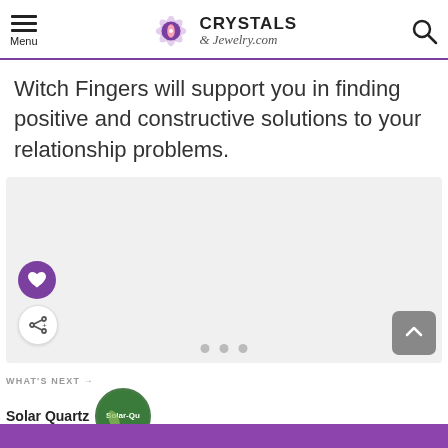Menu | CRYSTALS & Jewelry.com
Witch Fingers will support you in finding positive and constructive solutions to your relationship problems.
[Figure (photo): Large light gray placeholder image area for a crystal/jewelry photo, with a like (heart) button in purple and a share button, plus navigation dots at bottom.]
WHAT'S NEXT → Solar Quartz